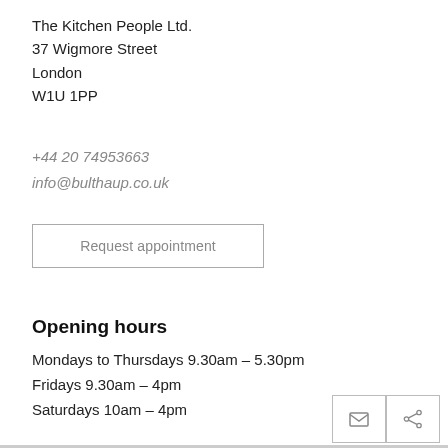The Kitchen People Ltd.
37 Wigmore Street
London
W1U 1PP
+44 20 74953663
info@bulthaup.co.uk
Request appointment
Opening hours
Mondays to Thursdays 9.30am – 5.30pm
Fridays 9.30am – 4pm
Saturdays 10am – 4pm